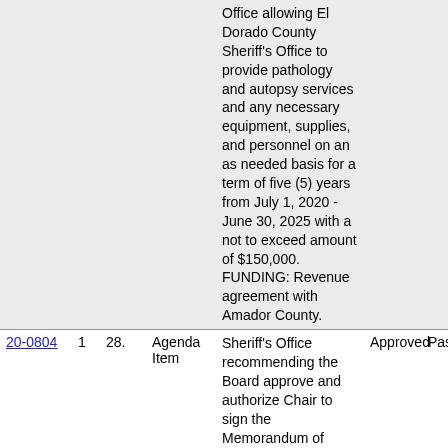| ID | Ver | Num | Type | Description | Action | Vote |
| --- | --- | --- | --- | --- | --- | --- |
|  |  |  |  | Office allowing El Dorado County Sheriff's Office to provide pathology and autopsy services and any necessary equipment, supplies, and personnel on an as needed basis for a term of five (5) years from July 1, 2020 - June 30, 2025 with a not to exceed amount of $150,000. FUNDING: Revenue agreement with Amador County. |  |  |
| 20-0804 | 1 | 28. | Agenda Item | Sheriff's Office recommending the Board approve and authorize Chair to sign the Memorandum of Understanding | Approved | Pass |